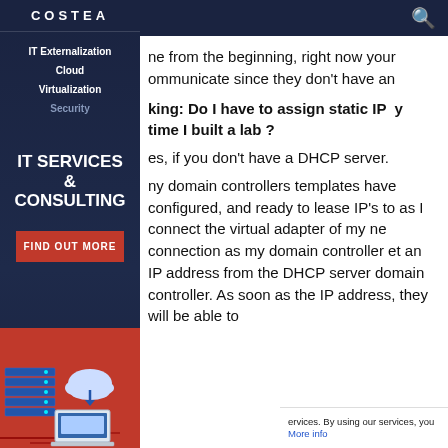COSTEA
IT Externalization
Cloud
Virtualization
Security
ne from the beginning, right now your ommunicate since they don't have an
king: Do I have to assign static IP y time I built a lab ?
es, if you don't have a DHCP server.
ny domain controllers templates have configured, and ready to lease IP's to as I connect the virtual adapter of my ne connection as my domain controller et an IP address from the DHCP server domain controller. As soon as the IP address, they will be able to
[Figure (illustration): IT services illustration with server stack, cloud, and laptop on red background]
IT SERVICES & CONSULTING
FIND OUT MORE
ervices. By using our services, you More info
Got it!